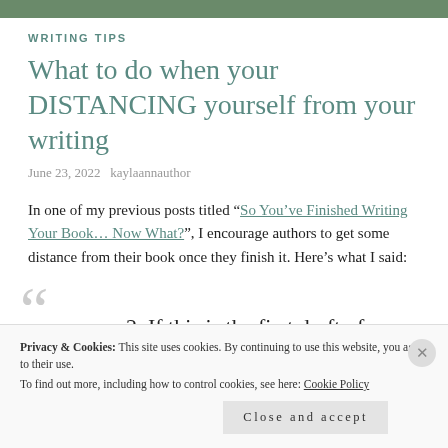WRITING TIPS
What to do when your DISTANCING yourself from your writing
June 23, 2022   kaylaannauthor
In one of my previous posts titled “So You’ve Finished Writing Your Book… Now What?”, I encourage authors to get some distance from their book once they finish it. Here’s what I said:
2. If this is the first draft of your
Privacy & Cookies: This site uses cookies. By continuing to use this website, you agree to their use. To find out more, including how to control cookies, see here: Cookie Policy
Close and accept